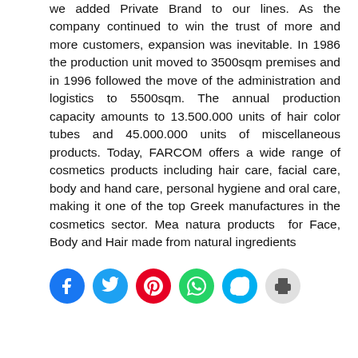we added Private Brand to our lines. As the company continued to win the trust of more and more customers, expansion was inevitable. In 1986 the production unit moved to 3500sqm premises and in 1996 followed the move of the administration and logistics to 5500sqm. The annual production capacity amounts to 13.500.000 units of hair color tubes and 45.000.000 units of miscellaneous products. Today, FARCOM offers a wide range of cosmetics products including hair care, facial care, body and hand care, personal hygiene and oral care, making it one of the top Greek manufactures in the cosmetics sector. Mea natura products for Face, Body and Hair made from natural ingredients
[Figure (other): Social sharing icons: Facebook (blue), Twitter (light blue), Pinterest (red), WhatsApp (green), Skype (blue), Print (gray)]